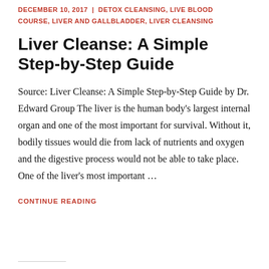DECEMBER 10, 2017 | DETOX CLEANSING, LIVE BLOOD COURSE, LIVER AND GALLBLADDER, LIVER CLEANSING
Liver Cleanse: A Simple Step-by-Step Guide
Source: Liver Cleanse: A Simple Step-by-Step Guide by Dr. Edward Group The liver is the human body's largest internal organ and one of the most important for survival. Without it, bodily tissues would die from lack of nutrients and oxygen and the digestive process would not be able to take place. One of the liver's most important …
CONTINUE READING